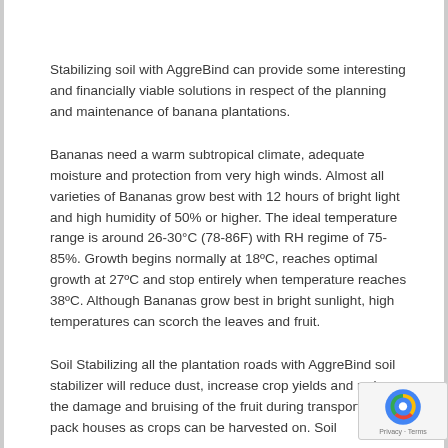Stabilizing soil with AggreBind can provide some interesting and financially viable solutions in respect of the planning and maintenance of banana plantations.
Bananas need a warm subtropical climate, adequate moisture and protection from very high winds. Almost all varieties of Bananas grow best with 12 hours of bright light and high humidity of 50% or higher. The ideal temperature range is around 26-30°C (78-86F) with RH regime of 75-85%. Growth begins normally at 18ºC, reaches optimal growth at 27ºC and stop entirely when temperature reaches 38ºC. Although Bananas grow best in bright sunlight, high temperatures can scorch the leaves and fruit.
Soil Stabilizing all the plantation roads with AggreBind soil stabilizer will reduce dust, increase crop yields and reduce the damage and bruising of the fruit during transport to the pack houses as crops can be harvested on. Soil...